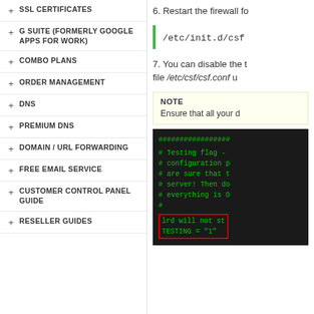SSL CERTIFICATES
G SUITE (FORMERLY GOOGLE APPS FOR WORK)
COMBO PLANS
ORDER MANAGEMENT
DNS
PREMIUM DNS
DOMAIN / URL FORWARDING
FREE EMAIL SERVICE
CUSTOMER CONTROL PANEL GUIDE
RESELLER GUIDES
6. Restart the firewall fo
/etc/init.d/csf
7. You can disable the t file /etc/csf/csf.conf u
NOTE
Ensure that all your d
[Figure (screenshot): Terminal/code block showing green text on dark background with lines: ################# , # Testing flag - , # configuration p, # are sure that t, # server! Then do, # everything is O, #, and highlighted lines: lrd will not st, TESTING = "1"]